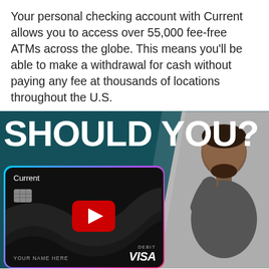Your personal checking account with Current allows you to access over 55,000 fee-free ATMs across the globe. This means you’ll be able to make a withdrawal for cash without paying any fee at thousands of locations throughout the U.S.
[Figure (photo): YouTube video thumbnail showing bold white text 'SHOULD YOU?' on a dark teal/black background with a diagonal split to a gray background on the right side where a man is thinking. In the center-left area is a Current debit Visa card (black with wave design, labeled 'YOUR NAME HERE', 'DEBIT', 'VISA') overlaid with a YouTube play button (red rectangle with white triangle).]